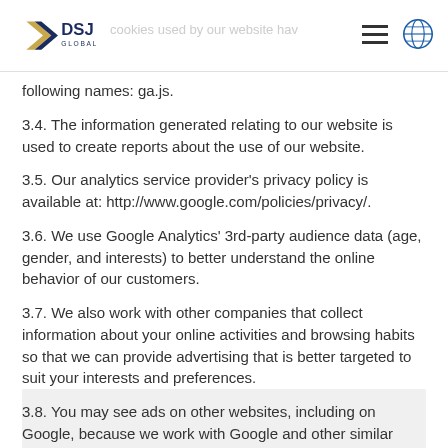DSJ Global
following names: ga.js.
3.4. The information generated relating to our website is used to create reports about the use of our website.
3.5. Our analytics service provider's privacy policy is available at: http://www.google.com/policies/privacy/.
3.6. We use Google Analytics' 3rd-party audience data (age, gender, and interests) to better understand the online behavior of our customers.
3.7. We also work with other companies that collect information about your online activities and browsing habits so that we can provide advertising that is better targeted to suit your interests and preferences.
3.8. You may see ads on other websites, including on Google, because we work with Google and other similar companies to